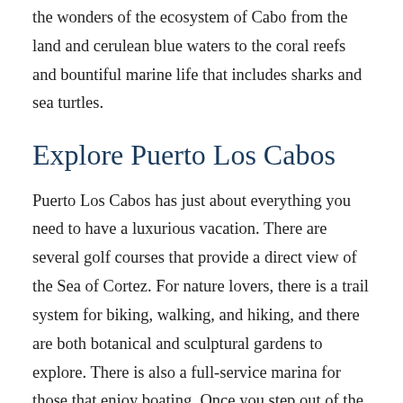the wonders of the ecosystem of Cabo from the land and cerulean blue waters to the coral reefs and bountiful marine life that includes sharks and sea turtles.
Explore Puerto Los Cabos
Puerto Los Cabos has just about everything you need to have a luxurious vacation. There are several golf courses that provide a direct view of the Sea of Cortez. For nature lovers, there is a trail system for biking, walking, and hiking, and there are both botanical and sculptural gardens to explore. There is also a full-service marina for those that enjoy boating. Once you step out of the luxury of your Puerto Los Cabos vacation rental, there is so much to see and explore.